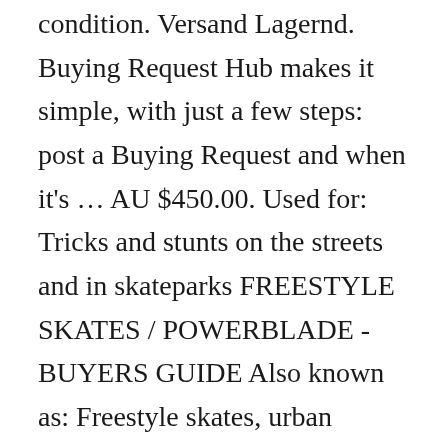condition. Versand Lagernd. Buying Request Hub makes it simple, with just a few steps: post a Buying Request and when it's … AU $450.00. Used for: Tricks and stunts on the streets and in skateparks FREESTYLE SKATES / POWERBLADE - BUYERS GUIDE Also known as: Freestyle skates, urban skates, slalom skates. We offer a guarantee with all our second hand skates. Size 33-36 £10. Don't need two pairs so want to sell these :) size 8, Brand new black "Fuegote" rollerskates by ChuffedSkates only